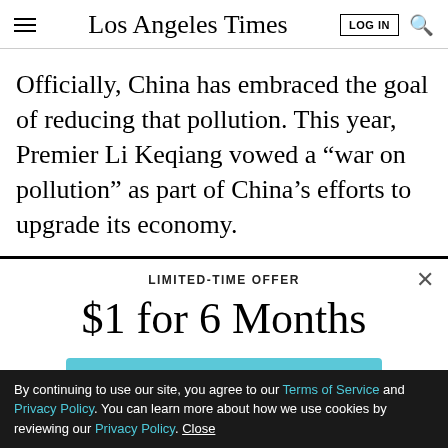Los Angeles Times
Officially, China has embraced the goal of reducing that pollution. This year, Premier Li Keqiang vowed a “war on pollution” as part of China’s efforts to upgrade its economy.
LIMITED-TIME OFFER
$1 for 6 Months
SUBSCRIBE NOW
By continuing to use our site, you agree to our Terms of Service and Privacy Policy. You can learn more about how we use cookies by reviewing our Privacy Policy. Close